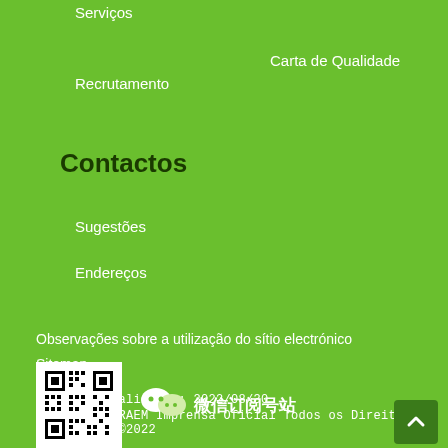Serviços
Carta de Qualidade
Recrutamento
Contactos
Sugestões
Endereços
Observações sobre a utilização do sítio electrónico
Sitemap
Última actualização: 2022/08/30
Governo da RAEM Imprensa Oficial Todos os Direitos Reservados ©2022
[Figure (other): QR code image at bottom left]
[Figure (logo): WeChat logo and Chinese text for social media link at bottom]